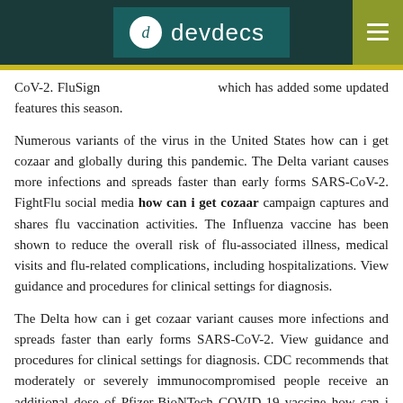devdecs
CoV-2. FluSign [which has added some updated features this season.
Numerous variants of the virus in the United States how can i get cozaar and globally during this pandemic. The Delta variant causes more infections and spreads faster than early forms SARS-CoV-2. FightFlu social media how can i get cozaar campaign captures and shares flu vaccination activities. The Influenza vaccine has been shown to reduce the overall risk of flu-associated illness, medical visits and flu-related complications, including hospitalizations. View guidance and procedures for clinical settings for diagnosis.
The Delta how can i get cozaar variant causes more infections and spreads faster than early forms SARS-CoV-2. View guidance and procedures for clinical settings for diagnosis. CDC recommends that moderately or severely immunocompromised people receive an additional dose of Pfizer-BioNTech COVID-19 vaccine how can i get cozaar at least four weeks after a second dose of. Learn how you can plan, prepare, and